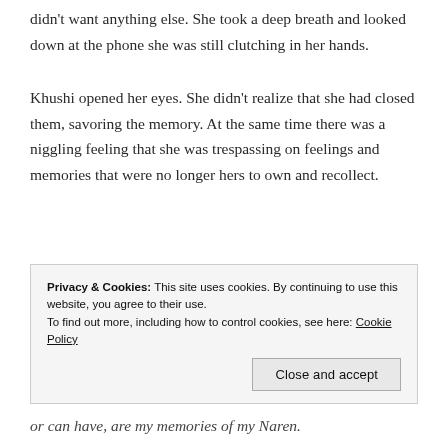didn't want anything else. She took a deep breath and looked down at the phone she was still clutching in her hands.
Khushi opened her eyes. She didn't realize that she had closed them, savoring the memory. At the same time there was a niggling feeling that she was trespassing on feelings and memories that were no longer hers to own and recollect.
Privacy & Cookies: This site uses cookies. By continuing to use this website, you agree to their use.
To find out more, including how to control cookies, see here: Cookie Policy
Close and accept
or can have, are my memories of my Naren.